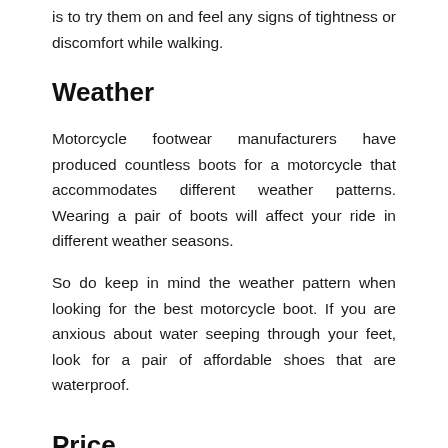is to try them on and feel any signs of tightness or discomfort while walking.
Weather
Motorcycle footwear manufacturers have produced countless boots for a motorcycle that accommodates different weather patterns. Wearing a pair of boots will affect your ride in different weather seasons.
So do keep in mind the weather pattern when looking for the best motorcycle boot. If you are anxious about water seeping through your feet, look for a pair of affordable shoes that are waterproof.
Price
Price comes into consideration when shopping for the